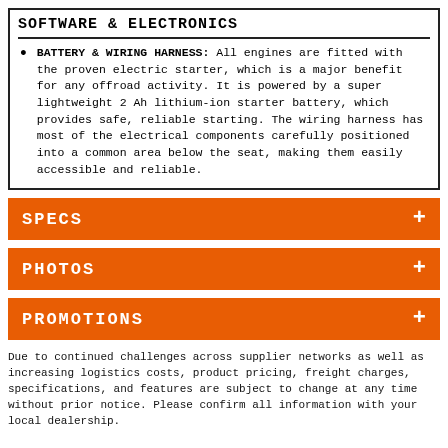SOFTWARE & ELECTRONICS
BATTERY & WIRING HARNESS: All engines are fitted with the proven electric starter, which is a major benefit for any offroad activity. It is powered by a super lightweight 2 Ah lithium-ion starter battery, which provides safe, reliable starting. The wiring harness has most of the electrical components carefully positioned into a common area below the seat, making them easily accessible and reliable.
SPECS +
PHOTOS +
PROMOTIONS +
Due to continued challenges across supplier networks as well as increasing logistics costs, product pricing, freight charges, specifications, and features are subject to change at any time without prior notice. Please confirm all information with your local dealership.